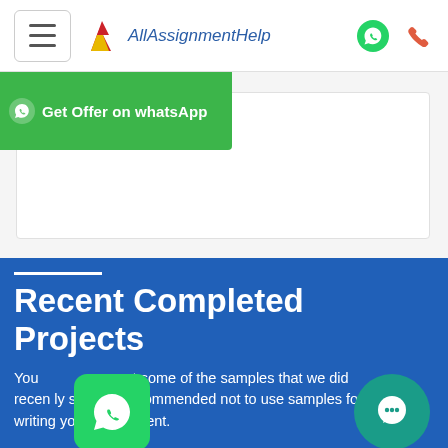AllAssignmentHelp
Get Offer on whatsApp
Recent Completed Projects
You at some of the samples that we did recently strongly recommend not to use samples for writing your assignment.